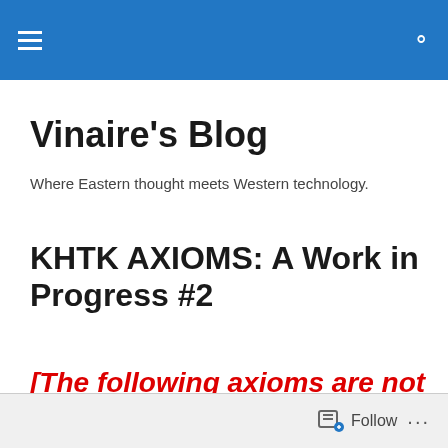Vinaire's Blog — site header bar with hamburger menu and search icon
Vinaire's Blog
Where Eastern thought meets Western technology.
KHTK AXIOMS: A Work in Progress #2
[The following axioms are not firmed up yet. Do not pay attention to an
Follow ...